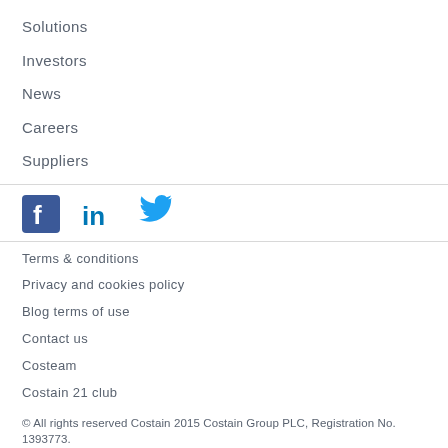Solutions
Investors
News
Careers
Suppliers
[Figure (logo): Facebook, LinkedIn, and Twitter social media icons in blue]
Terms & conditions
Privacy and cookies policy
Blog terms of use
Contact us
Costeam
Costain 21 club
© All rights reserved Costain 2015 Costain Group PLC, Registration No. 1393773.